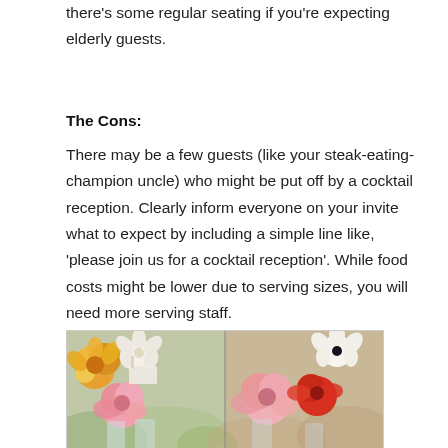there's some regular seating if you're expecting elderly guests.
The Cons:
There may be a few guests (like your steak-eating-champion uncle) who might be put off by a cocktail reception. Clearly inform everyone on your invite what to expect by including a simple line like, 'please join us for a cocktail reception'. While food costs might be lower due to serving sizes, you will need more serving staff.
[Figure (photo): Two-panel photograph of colorful flower arrangements on a table, featuring pink, orange, red and white roses and other flowers in glass vases, with bokeh background.]